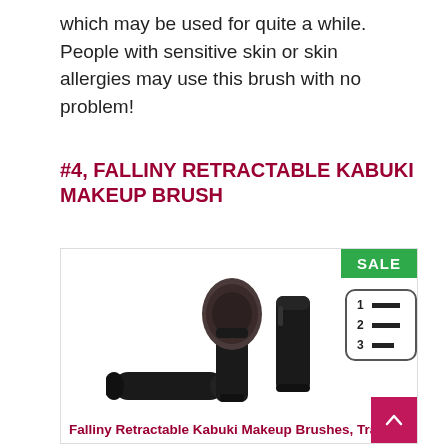which may be used for quite a while. People with sensitive skin or skin allergies may use this brush with no problem!
#4, FALLINY RETRACTABLE KABUKI MAKEUP BRUSH
[Figure (photo): Product photo of Falliny retractable kabuki makeup brushes showing three black cylindrical brush tubes, one open with brush head extended, one closed, and one lying flat. Green SALE badge in top right corner. Numbered list icon overlay in top right.]
Falliny Retractable Kabuki Makeup Brushes, Travel Face Blush Brush, Portable Powder Brush with Cover for Blush, Bronzer, Buffing